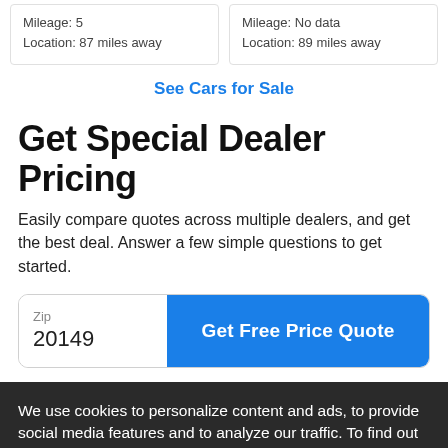Mileage: 5
Location: 87 miles away
Mileage: No data
Location: 89 miles away
See Cars for Sale
Get Special Dealer Pricing
Easily compare quotes across multiple dealers, and get the best deal. Answer a few simple questions to get started.
Zip
20149
Get Free Price Quote
We use cookies to personalize content and ads, to provide social media features and to analyze our traffic. To find out more, please visit our privacy policy or click "Customize Settings".
Ad Unit: /3811/6002/jsm.apps.new.m/no/bg/mod
Targeting Key/Values:
• adflow = native-1